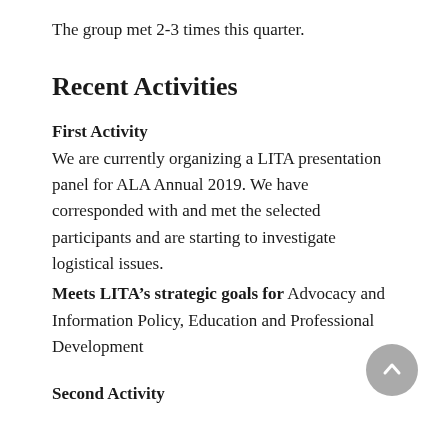The group met 2-3 times this quarter.
Recent Activities
First Activity
We are currently organizing a LITA presentation panel for ALA Annual 2019. We have corresponded with and met the selected participants and are starting to investigate logistical issues.
Meets LITA’s strategic goals for Advocacy and Information Policy, Education and Professional Development
Second Activity